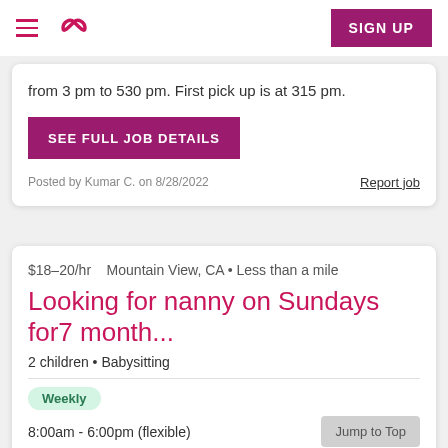Sittercity navigation and SIGN UP button
from 3 pm to 530 pm. First pick up is at 315 pm.
SEE FULL JOB DETAILS
Posted by Kumar C. on 8/28/2022
Report job
$18–20/hr    Mountain View, CA • Less than a mile
Looking for nanny on Sundays for7 month...
2 children • Babysitting
Weekly
8:00am - 6:00pm (flexible)
Jump to Top